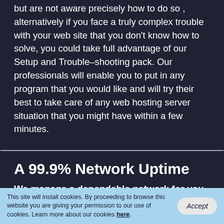but are not aware precisely how to do so , alternatively if you face a truly complex trouble with your web site that you don't know how to solve, you could take full advantage of our Setup and Trouble–shooting pack. Our professionals will enable you to put in any program that you would like and will try their best to take care of any web hosting server situation that you might have within a few minutes.
A 99.9% Network Uptime
We manage a dependable network for you
We work in partnership with a data center in America to maintain a solid inside network. By employing high–class
This site will install cookies. By proceeding to browse this website you are giving your permission to our use of cookies. Learn more about our cookies here.